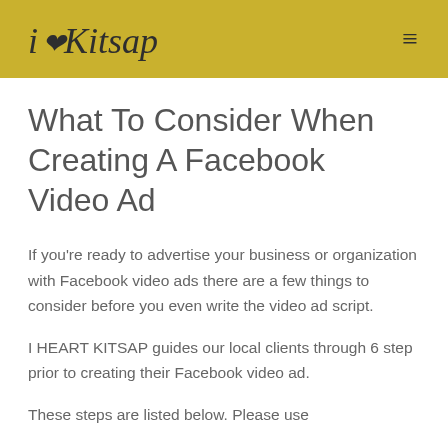I♥Kitsap ≡
What To Consider When Creating A Facebook Video Ad
If you're ready to advertise your business or organization with Facebook video ads there are a few things to consider before you even write the video ad script.
I HEART KITSAP guides our local clients through 6 step prior to creating their Facebook video ad.
These steps are listed below. Please use